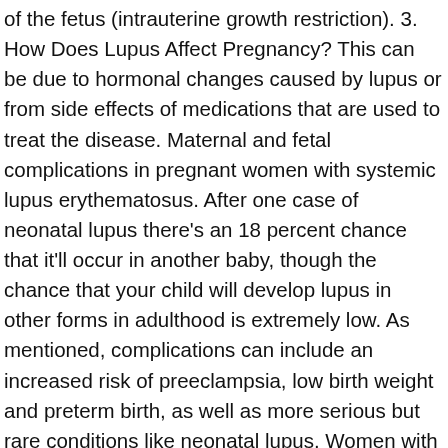of the fetus (intrauterine growth restriction). 3. How Does Lupus Affect Pregnancy? This can be due to hormonal changes caused by lupus or from side effects of medications that are used to treat the disease. Maternal and fetal complications in pregnant women with systemic lupus erythematosus. After one case of neonatal lupus there's an 18 percent chance that it'll occur in another baby, though the chance that your child will develop lupus in other forms in adulthood is extremely low. As mentioned, complications can include an increased risk of preeclampsia, low birth weight and preterm birth, as well as more serious but rare conditions like neonatal lupus. Women with kidney disease may also have a harder time getting pregnant. This is where the experience of clinicians who treat pregnant women with SLE on a regular basis is invaluable. 1995). How lupus affects unborn baby? Photosensitive rash 5. If you have particularly high levels of lupus-related antibodies in your blood or have lost a previous pregnancy, for example, daily doses of aspirin and heparin may be prescribed. 4. This condition can range